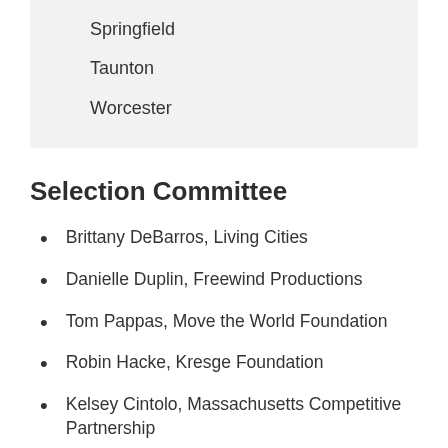Springfield
Taunton
Worcester
Selection Committee
Brittany DeBarros, Living Cities
Danielle Duplin, Freewind Productions
Tom Pappas, Move the World Foundation
Robin Hacke, Kresge Foundation
Kelsey Cintolo, Massachusetts Competitive Partnership